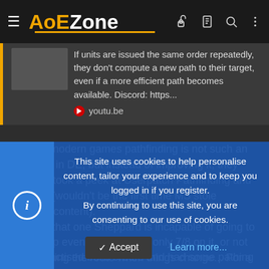AoEZone
If units are issued the same order repeatedly, they don't compute a new path to their target, even if a more efficient path becomes available. Discord: https... youtu.be
In many modern games pathfinding is not such an issue like in DE, but instead of improving it, they probably took a peek at Userpatch Pathfinding and copied it (wouldn't be the first time MS stole fanmade content).
Whether that one Sheppard is incapable of going to that sheep even tho there are only 7/8 on it, or not recalculating the route when things change... For a remake of a remake, this is not acceptable...
After I practised build orders and had some pathing issues, I
This site uses cookies to help personalise content, tailor your experience and to keep you logged in if you register.
By continuing to use this site, you are consenting to our use of cookies.